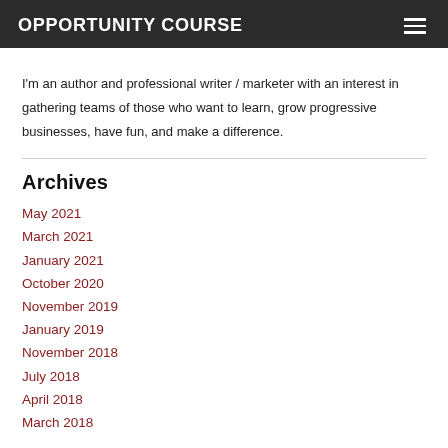OPPORTUNITY COURSE
I'm an author and professional writer / marketer with an interest in gathering teams of those who want to learn, grow progressive businesses, have fun, and make a difference.
Archives
May 2021
March 2021
January 2021
October 2020
November 2019
January 2019
November 2018
July 2018
April 2018
March 2018